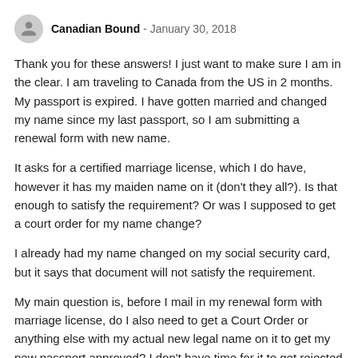Canadian Bound - January 30, 2018
Thank you for these answers! I just want to make sure I am in the clear. I am traveling to Canada from the US in 2 months. My passport is expired. I have gotten married and changed my name since my last passport, so I am submitting a renewal form with new name.
It asks for a certified marriage license, which I do have, however it has my maiden name on it (don’t they all?). Is that enough to satisfy the requirement? Or was I supposed to get a court order for my name change?
I already had my name changed on my social security card, but it says that document will not satisfy the requirement.
My main question is, before I mail in my renewal form with marriage license, do I also need to get a Court Order or anything else with my actual new legal name on it to get my new passport approved? I don’t have time for it to get rejected and resent.